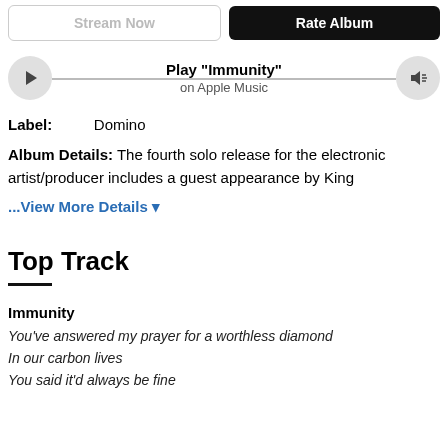Stream Now | Rate Album
Play "Immunity" on Apple Music
Label: Domino
Album Details: The fourth solo release for the electronic artist/producer includes a guest appearance by King
...View More Details
Top Track
Immunity
You've answered my prayer for a worthless diamond
In our carbon lives
You said it'd always be fine